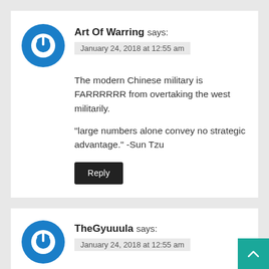[Figure (other): User avatar icon: blue circle with white power button symbol]
Art Of Warring says:
January 24, 2018 at 12:55 am
The modern Chinese military is FARRRRRR from overtaking the west militarily.
"large numbers alone convey no strategic advantage." -Sun Tzu
Reply
[Figure (other): User avatar icon: blue circle with white power button symbol]
TheGyuuula says:
January 24, 2018 at 12:55 am